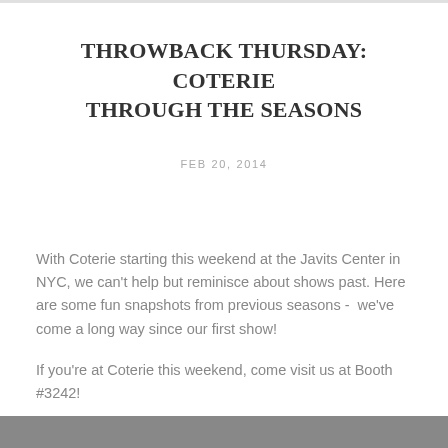THROWBACK THURSDAY: COTERIE THROUGH THE SEASONS
FEB 20, 2014
With Coterie starting this weekend at the Javits Center in NYC, we can't help but reminisce about shows past. Here are some fun snapshots from previous seasons -  we've come a long way since our first show!
If you're at Coterie this weekend, come visit us at Booth #3242!
[Figure (photo): Dark grey/black photo strip at the bottom of the page]